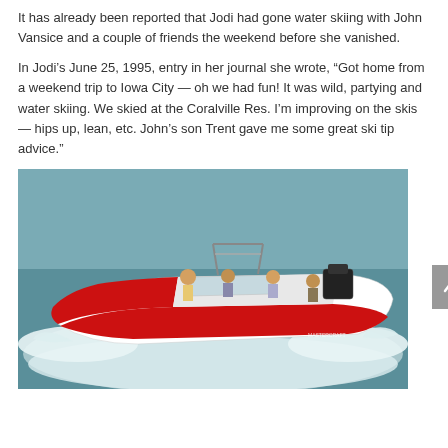It has already been reported that Jodi had gone water skiing with John Vansice and a couple of friends the weekend before she vanished.
In Jodi's June 25, 1995, entry in her journal she wrote, “Got home from a weekend trip to Iowa City — oh we had fun! It was wild, partying and water skiing. We skied at the Coralville Res. I’m improving on the skis — hips up, lean, etc. John’s son Trent gave me some great ski tip advice.”
[Figure (photo): A red and white motorboat (Mastercraft) speeding across water with several people on board, creating a large wake.]